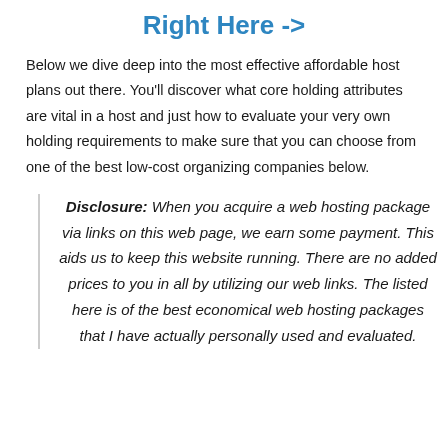Right Here ->
Below we dive deep into the most effective affordable host plans out there. You'll discover what core holding attributes are vital in a host and just how to evaluate your very own holding requirements to make sure that you can choose from one of the best low-cost organizing companies below.
Disclosure: When you acquire a web hosting package via links on this web page, we earn some payment. This aids us to keep this website running. There are no added prices to you in all by utilizing our web links. The listed here is of the best economical web hosting packages that I have actually personally used and evaluated.